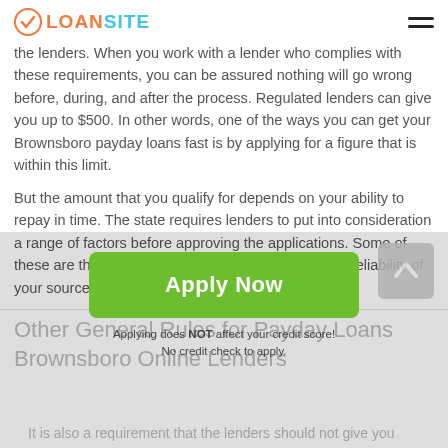LOANSITE
the lenders. When you work with a lender who complies with these requirements, you can be assured nothing will go wrong before, during, and after the process. Regulated lenders can give you up to $500. In other words, one of the ways you can get your Brownsboro payday loans fast is by applying for a figure that is within this limit.
But the amount that you qualify for depends on your ability to repay in time. The state requires lenders to put into consideration a range of factors before approving the applications. Some of these are the value of your upcoming check and the reliability of your source of income.
Other General Rules for Payday Loans Brownsboro Online Lenders
[Figure (other): Green Apply Now button with sub-text: Applying does NOT affect your credit score! No credit check to apply.]
Applying does NOT affect your credit score! No credit check to apply.
It is also a requirement that the lenders should not give you